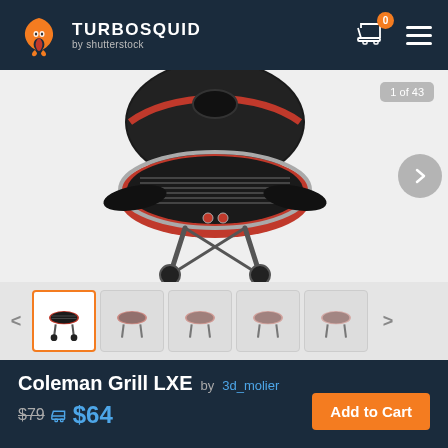[Figure (logo): TurboSquid by Shutterstock logo with orange squid icon]
TURBOSQUID by shutterstock
[Figure (photo): 3D render of a red Coleman Grill LXE portable gas grill with open lid showing grill grates, side tables folded down, and wheeled stand. Shown from a 3/4 angle on light gray background. Badge reads '1 of 43'.]
[Figure (photo): Thumbnail strip showing 5 small views of the Coleman Grill LXE 3D model from different angles]
Coleman Grill LXE by 3d_molier
$79 $64
Add to Cart